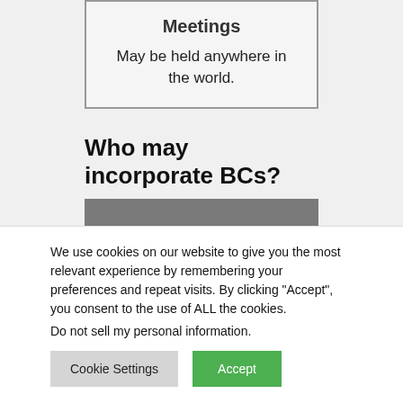| Meetings |
| --- |
| May be held anywhere in the world. |
Who may incorporate BCs?
| Licensed Registered |
| --- |
We use cookies on our website to give you the most relevant experience by remembering your preferences and repeat visits. By clicking “Accept”, you consent to the use of ALL the cookies.
Do not sell my personal information.